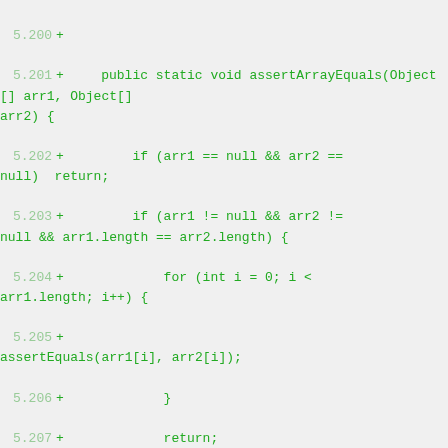[Figure (screenshot): Code diff screenshot showing Java source code lines 5.200-5.215 with green '+' markers indicating added lines. The code shows assertArrayEquals and assertEquals static methods.]